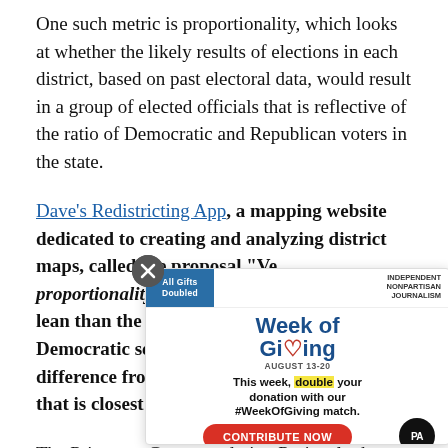One such metric is proportionality, which looks at whether the likely results of elections in each district, based on past electoral data, would result in a group of elected officials that is reflective of the ratio of Democratic and Republican voters in the state.
Dave's Redistricting App, a mapping website dedicated to creating and analyzing district maps, called the proposal "Ve... proportionality, with a... lean than the current m... Democratic seats would... difference from the nu... that is closest to propo...
[Figure (other): Week of Giving advertisement popup overlay with close button (X), 'All Gifts Doubled' banner, 'Week of Giving August 13-20' heading with heart icon, tagline 'This week, double your donation with our #WeekOfGiving match.', a red 'CONTRIBUTE NOW' button, and PA circular logo. Independent Nonpartisan Journalism label.]
The Princeton Gerrymandering Project looks at a